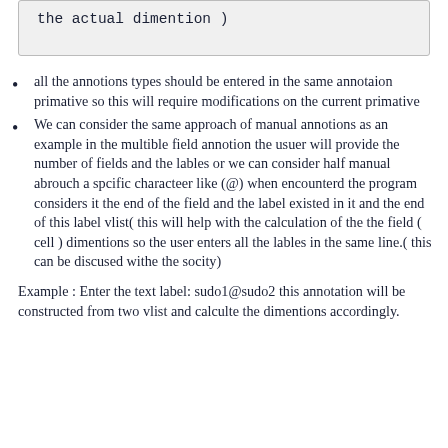the actual dimention )
all the annotions types should be entered in the same annotaion primative so this will require modifications on the current primative
We can consider the same approach of manual annotions as an example in the multible field annotion the usuer will provide the number of fields and the lables or we can consider half manual abrouch a spcific characteer like (@) when encounterd the program considers it the end of the field and the label existed in it and the end of this label vlist( this will help with the calculation of the the field ( cell ) dimentions so the user enters all the lables in the same line.( this can be discused withe the socity)
Example : Enter the text label: sudo1@sudo2 this annotation will be constructed from two vlist and calculte the dimentions accordingly.